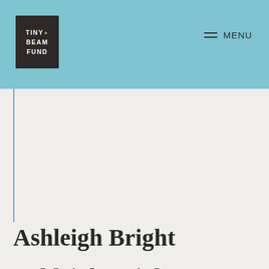TINY BEAM FUND | MENU
Rachel Mason
Alexandra Navarro
Ashleigh Bright
Location: New Zealand
Academic field: Zoology
Award category: PhD Holder
Topics to be Addressed during the Award